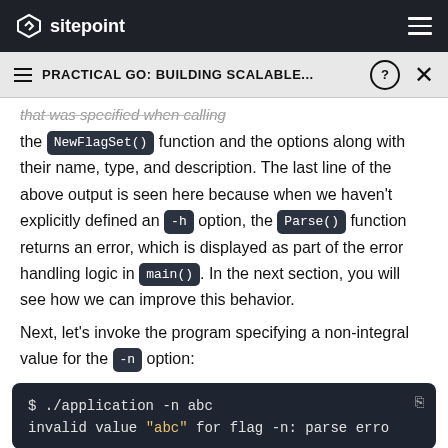sitepoint
PRACTICAL GO: BUILDING SCALABLE...
the NewFlagSet() function and the options along with their name, type, and description. The last line of the above output is seen here because when we haven't explicitly defined an -h option, the Parse() function returns an error, which is displayed as part of the error handling logic in main(). In the next section, you will see how we can improve this behavior.
Next, let's invoke the program specifying a non-integral value for the -n option:
[Figure (screenshot): Code block showing terminal command: $ ./application -n abc
invalid value "abc" for flag -n: parse erro]